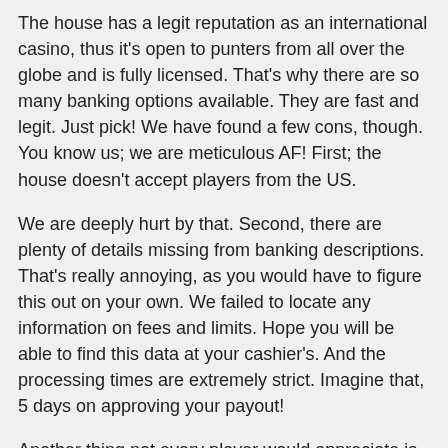The house has a legit reputation as an international casino, thus it's open to punters from all over the globe and is fully licensed. That's why there are so many banking options available. They are fast and legit. Just pick! We have found a few cons, though. You know us; we are meticulous AF! First; the house doesn't accept players from the US.
We are deeply hurt by that. Second, there are plenty of details missing from banking descriptions. That's really annoying, as you would have to figure this out on your own. We failed to locate any information on fees and limits. Hope you will be able to find this data at your cashier's. And the processing times are extremely strict. Imagine that, 5 days on approving your payout!
Another thing not every player would appreciate is the lack of choice. Slots Heaven is a one-provider casino, and there isn't any choice here beyond Playtech. Finally, we have found only three promos.